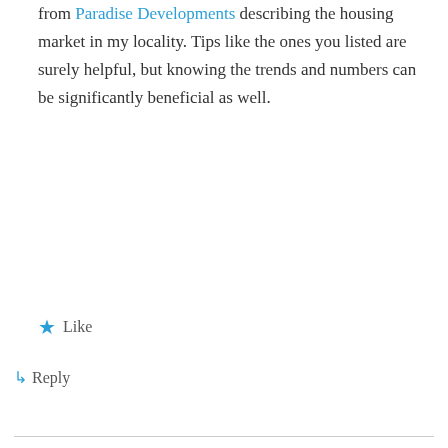from Paradise Developments describing the housing market in my locality. Tips like the ones you listed are surely helpful, but knowing the trends and numbers can be significantly beneficial as well.
★ Like
↳ Reply
Follow Blog via Email
Enter your email address to follow this blog and receive notifications of new posts by email.
Email Address
Follow